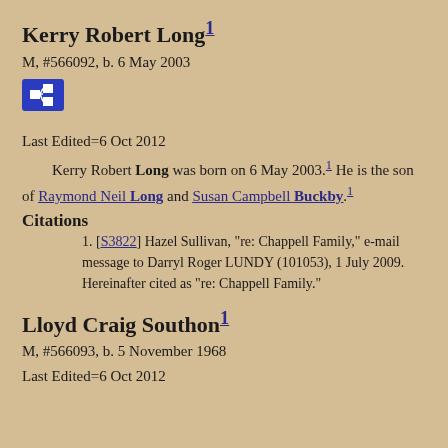Kerry Robert Long¹
M, #566092, b. 6 May 2003
[Figure (other): Blue icon button with family tree/pedigree chart symbol]
Last Edited=6 Oct 2012
Kerry Robert Long was born on 6 May 2003.¹ He is the son of Raymond Neil Long and Susan Campbell Buckby.¹
Citations
[S3822] Hazel Sullivan, "re: Chappell Family," e-mail message to Darryl Roger LUNDY (101053), 1 July 2009. Hereinafter cited as "re: Chappell Family."
Lloyd Craig Southon¹
M, #566093, b. 5 November 1968
Last Edited=6 Oct 2012